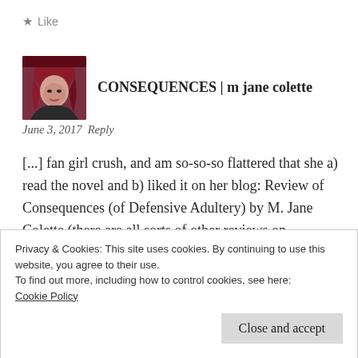★ Like
[Figure (photo): Avatar photo of a person with red/dark hair against white background]
CONSEQUENCES | m jane colette
June 3, 2017  Reply
[...] fan girl crush, and am so-so-so flattered that she a) read the novel and b) liked it on her blog: Review of Consequences (of Defensive Adultery) by M. Jane Colette (there are all sorts of other reviews on GoodReads and Amazon as
Privacy & Cookies: This site uses cookies. By continuing to use this website, you agree to their use.
To find out more, including how to control cookies, see here:
Cookie Policy
Close and accept